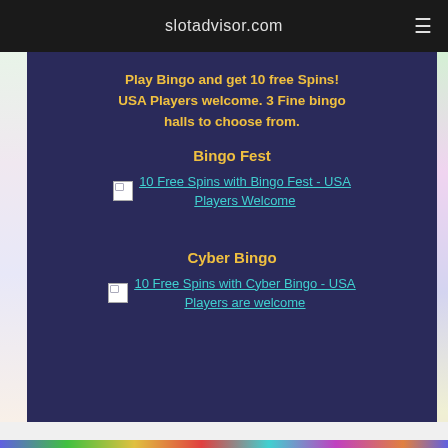slotadvisor.com
Play Bingo and get 10 free Spins! USA Players welcome. 3 Fine bingo halls to choose from.
Bingo Fest
10 Free Spins with Bingo Fest - USA Players Welcome
Cyber Bingo
10 Free Spins with Cyber Bingo - USA Players are welcome